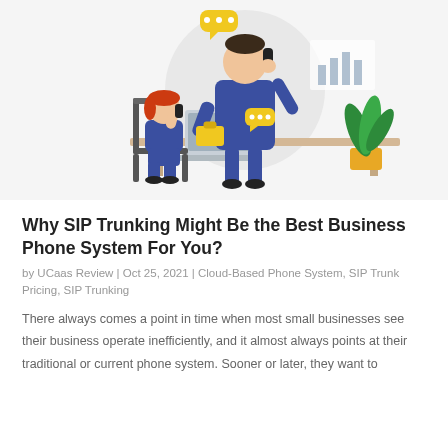[Figure (illustration): Flat vector illustration of two office workers: a tall man in blue shirt talking on a phone with a yellow briefcase and chat bubbles above, and a woman with red hair sitting at a desk on a laptop also on the phone. A green plant in a yellow pot on the right. Office/business setting with a chart on the wall in the background. Light gray circular backdrop behind the man.]
Why SIP Trunking Might Be the Best Business Phone System For You?
by UCaaS Review | Oct 25, 2021 | Cloud-Based Phone System, SIP Trunk Pricing, SIP Trunking
There always comes a point in time when most small businesses see their business operate inefficiently, and it almost always points at their traditional or current phone system. Sooner or later, they want to